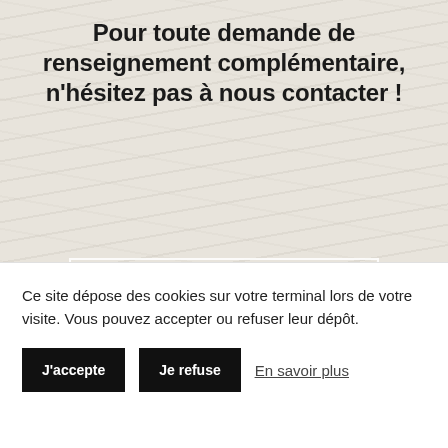Pour toute demande de renseignement complémentaire, n'hésitez pas à nous contacter !
Contactez-nous !
[Figure (illustration): Teal location pin / map marker icon]
ZAC Les Terrasses
Ce site dépose des cookies sur votre terminal lors de votre visite. Vous pouvez accepter ou refuser leur dépôt.
J'accepte
Je refuse
En savoir plus